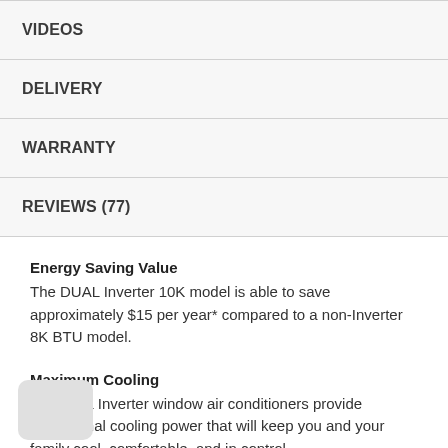VIDEOS
DELIVERY
WARRANTY
REVIEWS (77)
Energy Saving Value
The DUAL Inverter 10K model is able to save approximately $15 per year* compared to a non-Inverter 8K BTU model.
Maximum Cooling
LG DUAL Inverter window air conditioners provide exceptional cooling power that will keep you and your family cool, comfortable, and in control.